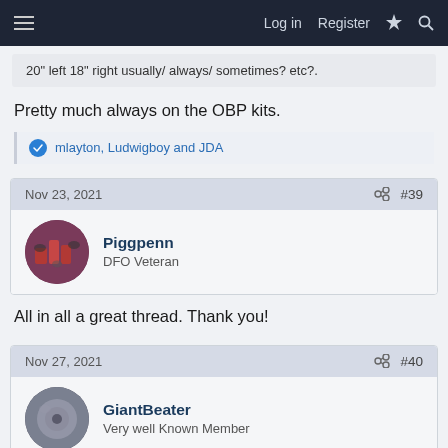Log in  Register
20" left 18" right usually/ always/ sometimes? etc?.
Pretty much always on the OBP kits.
mlayton, Ludwigboy and JDA
Nov 23, 2021  #39
Piggpenn
DFO Veteran
All in all a great thread. Thank you!
Nov 27, 2021  #40
GiantBeater
Very well Known Member